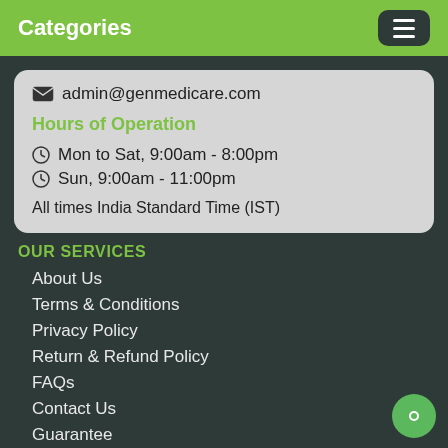Categories
admin@genmedicare.com
Hours of Operation
Mon to Sat, 9:00am - 8:00pm
Sun, 9:00am - 11:00pm
All times India Standard Time (IST)
OUR SERVICES
About Us
Terms & Conditions
Privacy Policy
Return & Refund Policy
FAQs
Contact Us
Guarantee
Disclaimer
OUR SUPPORT
How To Track Order